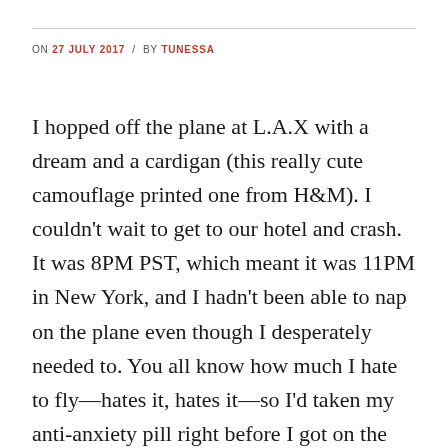ON 27 JULY 2017 / BY TUNESSA
I hopped off the plane at L.A.X with a dream and a cardigan (this really cute camouflage printed one from H&M). I couldn't wait to get to our hotel and crash. It was 8PM PST, which meant it was 11PM in New York, and I hadn't been able to nap on the plane even though I desperately needed to. You all know how much I hate to fly—hates it, hates it—so I'd taken my anti-anxiety pill right before I got on the plane, and chased it with a glass of wine because the doctor told me I could do that if I still felt on edge and I always still feel on edge. I was feeling all warm and sleepy as we boarded, and fully intended on passing